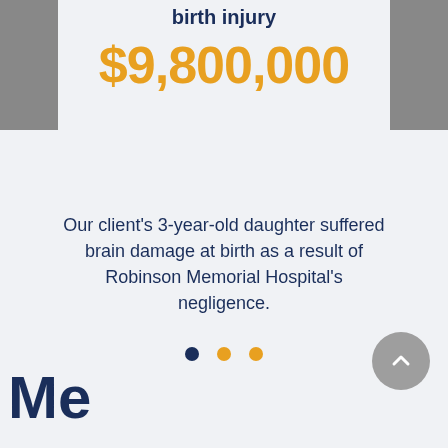[Figure (photo): Partial photo strip on left side, person visible]
[Figure (photo): Partial photo strip on right side, person visible]
birth injury
$9,800,000
Our client’s 3-year-old daughter suffered brain damage at birth as a result of Robinson Memorial Hospital’s negligence.
[Figure (infographic): Three pagination dots: dark navy, gold, gold]
[Figure (infographic): Gray circular scroll-to-top button with upward chevron icon]
Me...